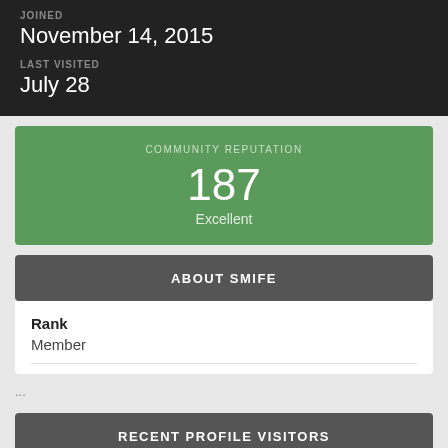JOINED
November 14, 2015
LAST VISITED
July 28
COMMUNITY REPUTATION
187
Excellent
ABOUT SMIFE
Rank
Member
...
RECENT PROFILE VISITORS
865 profile views
Scrumch